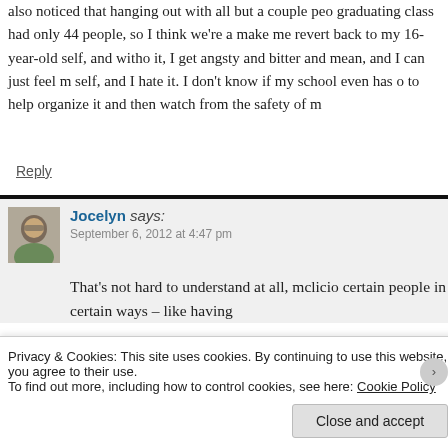also noticed that hanging out with all but a couple peo graduating class had only 44 people, so I think we’re a make me revert back to my 16-year-old self, and witho it, I get angsty and bitter and mean, and I can just feel self, and I hate it. I don’t know if my school even has to help organize it and then watch from the safety of m
Reply
Jocelyn says: September 6, 2012 at 4:47 pm
That’s not hard to understand at all, mclicio certain people in certain ways – like having
Privacy & Cookies: This site uses cookies. By continuing to use this website, you agree to their use.
To find out more, including how to control cookies, see here: Cookie Policy
Close and accept